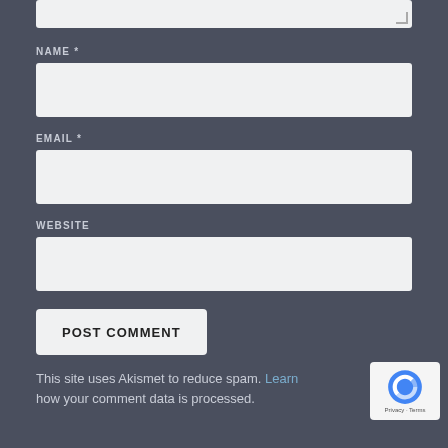[Figure (screenshot): Partial textarea input field at top of page]
NAME *
[Figure (screenshot): Name input field (empty text box)]
EMAIL *
[Figure (screenshot): Email input field (empty text box)]
WEBSITE
[Figure (screenshot): Website input field (empty text box)]
POST COMMENT
This site uses Akismet to reduce spam. Learn how your comment data is processed.